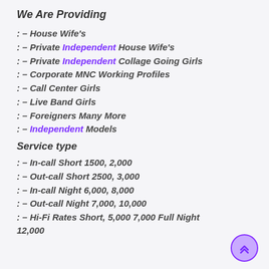We Are Providing
: – House Wife's
: – Private Independent House Wife's
: – Private Independent Collage Going Girls
: – Corporate MNC Working Profiles
: – Call Center Girls
: – Live Band Girls
: – Foreigners Many More
: – Independent Models
Service type
: – In-call Short 1500, 2,000
: – Out-call Short 2500, 3,000
: – In-call Night 6,000, 8,000
: – Out-call Night 7,000, 10,000
: – Hi-Fi Rates Short, 5,000 7,000 Full Night 12,000